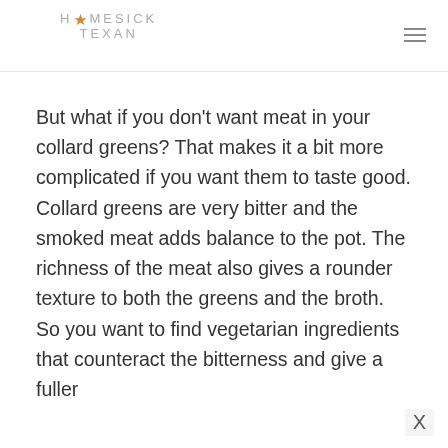HOMESICK TEXAN
But what if you don't want meat in your collard greens? That makes it a bit more complicated if you want them to taste good. Collard greens are very bitter and the smoked meat adds balance to the pot. The richness of the meat also gives a rounder texture to both the greens and the broth. So you want to find vegetarian ingredients that counteract the bitterness and give a fuller